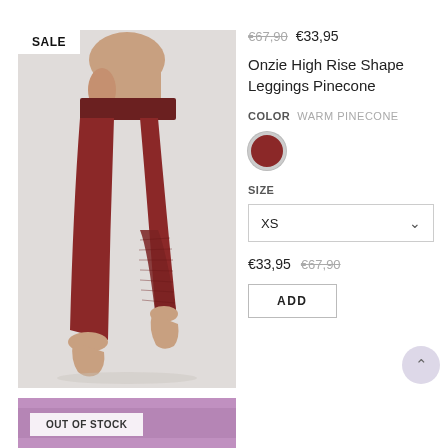[Figure (photo): Woman wearing dark red/burgundy high-rise leggings with mesh detail panel on lower leg, shown from torso down, side profile, against light grey background]
SALE
€67,90  €33,95
Onzie High Rise Shape Leggings Pinecone
COLOR  WARM PINECONE
[Figure (other): Warm pinecone color swatch — dark burgundy/red circle with light grey border ring]
SIZE
XS
€33,95  €67,90
ADD
[Figure (photo): Partial bottom image of another product in purple/magenta color]
OUT OF STOCK